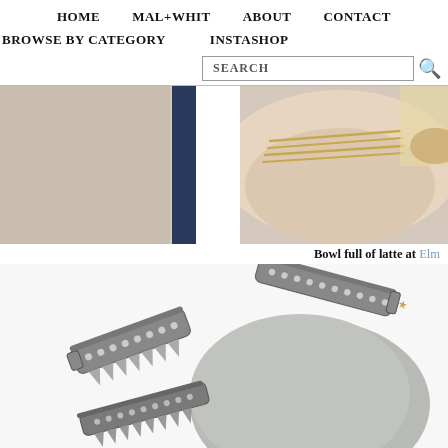HOME   MAL+WHIT   ABOUT   CONTACT
BROWSE BY CATEGORY   INSTASHOP
SEARCH
[Figure (photo): Close-up of a person's arm wearing a striped navy and white sleeve with gold wire bracelets stacked on the wrist, with a bowl of latte visible partially on the right]
Bowl full of latte at Elm
[Figure (photo): Close-up of ornate silver studded and chain bangles/cuff bracelets on a white background partially resting on gray fabric with a blue label visible]